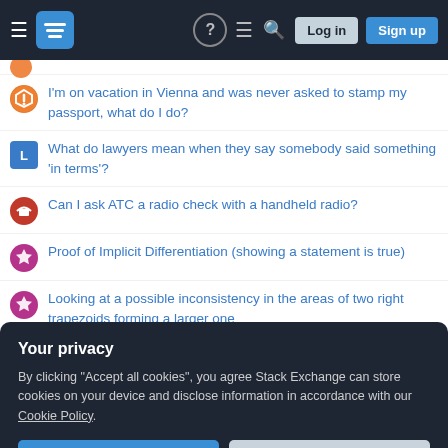[Figure (screenshot): Stack Exchange website navigation bar with hamburger menu, logo, help, chat, search icons, Log in and Sign up buttons]
I'm on vacation in Vienna and was never asked to stamp my passport, what do I do?
What do lawyers mean when they say somebody said something 'in terms'?
Can I ask ATC a radio check with a handheld radio?
Proof of Implicit Differentiation (showing a statement is true)
Looking at a possible inconsistency in the areas of two right trapezoids forming a larger one
Why did God choose healing instead of taking away the serpents in Numbers 21:6?
"Best Practices" vs. user research
Your privacy
By clicking "Accept all cookies", you agree Stack Exchange can store cookies on your device and disclose information in accordance with our Cookie Policy.
Accept all cookies
Customize settings
What is the typeface used on the "red box" Basic D&B boxed set exterior logo?